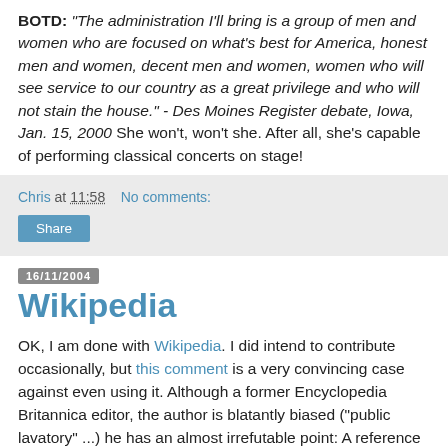BOTD: "The administration I'll bring is a group of men and women who are focused on what's best for America, honest men and women, decent men and women, women who will see service to our country as a great privilege and who will not stain the house." - Des Moines Register debate, Iowa, Jan. 15, 2000 She won't, won't she. After all, she's capable of performing classical concerts on stage!
Chris at 11:58   No comments:
Share
16/11/2004
Wikipedia
OK, I am done with Wikipedia. I did intend to contribute occasionally, but this comment is a very convincing case against even using it. Although a former Encyclopedia Britannica editor, the author is blatantly biased ("public lavatory" ...) he has an almost irrefutable point: A reference manual does have to state facts and it does have to do so